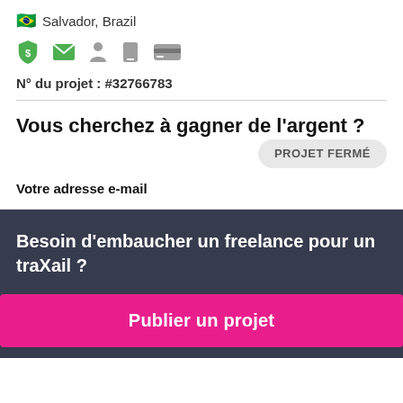🇧🇷 Salvador, Brazil
[Figure (infographic): Row of 5 user profile verification icons: green shield with dollar sign, green envelope, grey person silhouette, grey phone, grey credit card]
N° du projet : #32766783
Vous cherchez à gagner de l'argent ?
PROJET FERMÉ
Votre adresse e-mail
Besoin d'embaucher un freelance pour un travail ?
Publier un projet